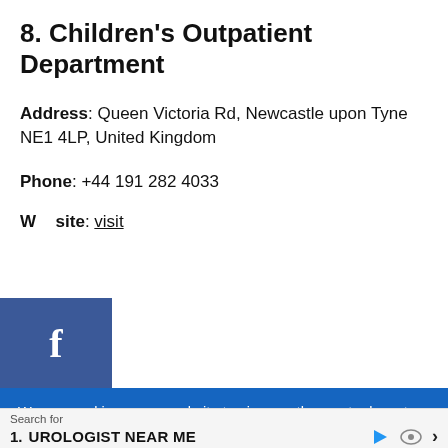8. Children's Outpatient Department
Address: Queen Victoria Rd, Newcastle upon Tyne NE1 4LP, United Kingdom
Phone: +44 191 282 4033
Website: visit
Newcastle Birthing Centre
We use cookies on our website to give you the most relevant experience by remembering your preferences and repeat visits. By clicking “Accept”, you consent to the use of ALL the cookies.
Search for
1. UROLOGIST NEAR ME
Ad | Business Focus